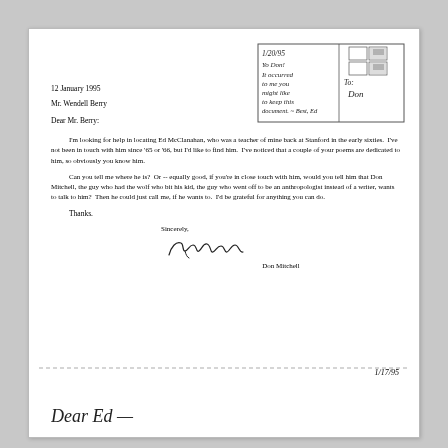[Figure (other): Handwritten envelope/note insert with postage stamps area. Text reads: '1/20/95 / Yo Don! / It occurred / to me you / might like / to keep this / document. ~ Best, Ed' and 'To: / Don' on the right side with stamp box.]
12 January 1995
Mr. Wendell Berry
Dear Mr. Berry:
I'm looking for help in locating Ed McClanahan, who was a teacher of mine back at Stanford in the early sixties.  I've not been in touch with him since '65 or '66, but I'd like to find him.  I've noticed that a couple of your poems are dedicated to him, so obviously you know him.
Can you tell me where he is?  Or -- equally good, if you're in close touch with him, would you tell him that Don Mitchell, the guy who had the wolf who bit his kid, the guy who went off to be an anthropologist instead of a writer, wants to talk to him?  Then he could just call me, if he wants to.  I'd be grateful for anything you can do.
Thanks.
Sincerely,
[Figure (other): Handwritten cursive signature reading 'Don Mitchell']
Don Mitchell
1/17/95
Dear Ed —